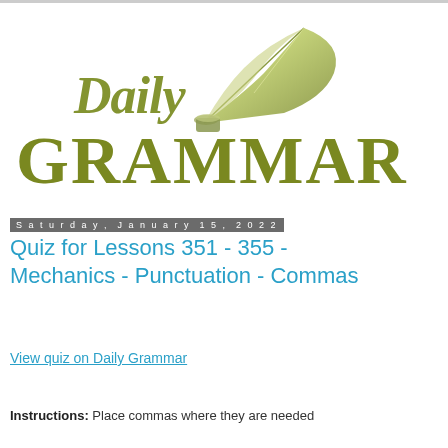[Figure (logo): Daily Grammar logo with ornate script 'Daily' text above large serif 'GRAMMAR' text in olive/dark yellow-green color, with a quill feather pen and ink well illustration]
Saturday, January 15, 2022
Quiz for Lessons 351 - 355 - Mechanics - Punctuation - Commas
View quiz on Daily Grammar
Instructions: Place commas where they are needed